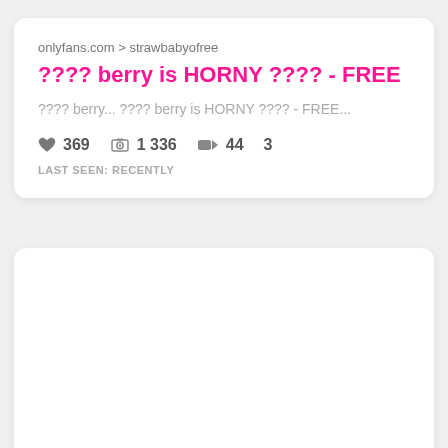onlyfans.com > strawbabyofree
???? berry is HORNY ???? - FREE
???? berry... ???? berry is HORNY ???? - FREE...
♥ 369   📷 1 336   🎥 44   3
LAST SEEN: RECENTLY